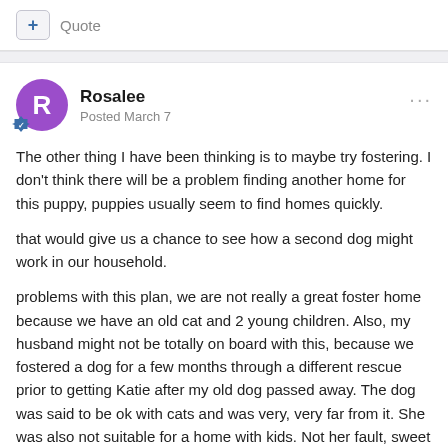+ Quote
Rosalee
Posted March 7
The other thing I have been thinking is to maybe try fostering. I don't think there will be a problem finding another home for this puppy, puppies usually seem to find homes quickly.
that would give us a chance to see how a second dog might work in our household.
problems with this plan, we are not really a great foster home because we have an old cat and 2 young children. Also, my husband might not be totally on board with this, because we fostered a dog for a few months through a different rescue prior to getting Katie after my old dog passed away. The dog was said to be ok with cats and was very, very far from it. She was also not suitable for a home with kids. Not her fault, sweet dog, but